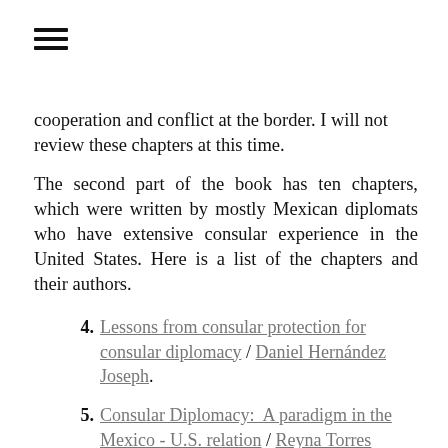≡
cooperation and conflict at the border. I will not review these chapters at this time.
The second part of the book has ten chapters, which were written by mostly Mexican diplomats who have extensive consular experience in the United States. Here is a list of the chapters and their authors.
4. Lessons from consular protection for consular diplomacy / Daniel Hernández Joseph.
5. Consular Diplomacy: A paradigm in the Mexico - U.S. relation / Reyna Torres Mendivil.